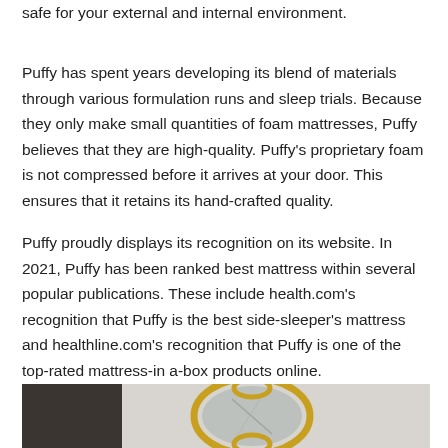safe for your external and internal environment.
Puffy has spent years developing its blend of materials through various formulation runs and sleep trials. Because they only make small quantities of foam mattresses, Puffy believes that they are high-quality. Puffy's proprietary foam is not compressed before it arrives at your door. This ensures that it retains its hand-crafted quality.
Puffy proudly displays its recognition on its website. In 2021, Puffy has been ranked best mattress within several popular publications. These include health.com's recognition that Puffy is the best side-sleeper's mattress and healthline.com's recognition that Puffy is one of the top-rated mattress-in a-box products online.
[Figure (photo): A room interior photo showing a wall-mounted decorative mirror with a yellow/gold ornate frame, partially visible against a light grey wall, with a dark wooden furniture piece or wall panel on the left side.]